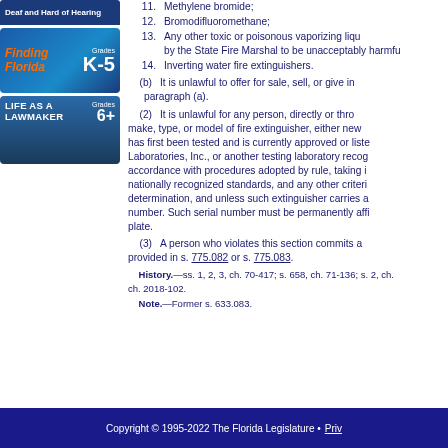[Figure (other): Deaf and Hard of Hearing sidebar link button]
[Figure (other): Finding Florida Grades K-5 educational resource banner]
[Figure (other): Life as a Lawmaker Grades 6+ educational resource banner]
11. Methylene bromide;
12. Bromodifluoromethane;
13. Any other toxic or poisonous vaporizing liquid prohibited by the State Fire Marshal to be unacceptably harmful.
14. Inverting water fire extinguishers.
(b) It is unlawful to offer for sale, sell, or give in paragraph (a).
(2) It is unlawful for any person, directly or through make, type, or model of fire extinguisher, either new has first been tested and is currently approved or listed by Laboratories, Inc., or another testing laboratory recognized in accordance with procedures adopted by rule, taking into nationally recognized standards, and any other criteria determination, and unless such extinguisher carries a serial number. Such serial number must be permanently affixed on a plate.
(3) A person who violates this section commits a misdemeanor as provided in s. 775.082 or s. 775.083.
History.—ss. 1, 2, 3, ch. 70-417; s. 658, ch. 71-136; s. 2, ch. ... ch. 2018-102.
Note.—Former s. 633.083.
Copyright © 1995-2022 The Florida Legislature • Priv...